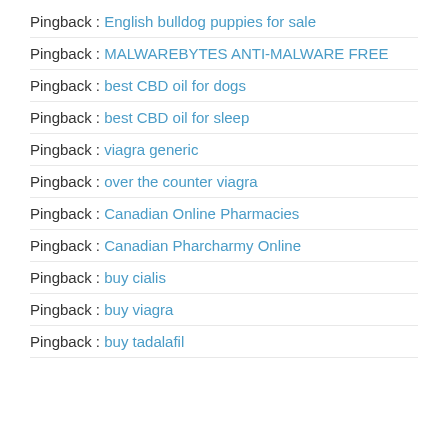Pingback : English bulldog puppies for sale
Pingback : MALWAREBYTES ANTI-MALWARE FREE
Pingback : best CBD oil for dogs
Pingback : best CBD oil for sleep
Pingback : viagra generic
Pingback : over the counter viagra
Pingback : Canadian Online Pharmacies
Pingback : Canadian Pharcharmy Online
Pingback : buy cialis
Pingback : buy viagra
Pingback : buy tadalafil